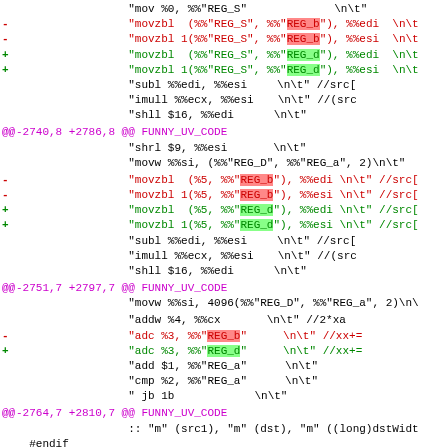[Figure (screenshot): Diff view of assembly code showing changes from REG_b to REG_d in movzbl and adc instructions, with hunk headers showing line numbers -2740,8 +2786,8, -2751,7 +2797,7, and -2764,7 +2810,7 for FUNNY_UV_CODE]
Code diff showing assembly source changes. Removed lines (red, '-') use REG_b, added lines (green, '+') use REG_d. Hunk headers in magenta show @@ -2740,8 +2786,8 @@ FUNNY_UV_CODE, @@ -2751,7 +2797,7 @@ FUNNY_UV_CODE, @@ -2764,7 +2810,7 @@ FUNNY_UV_CODE